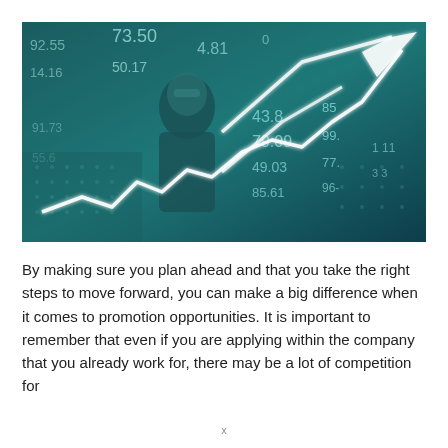[Figure (photo): A composite finance image showing a person reviewing data in front of a teal-tinted stock market board with numbers (92.55, 73.50, 14.16, 50.17, 43.8, 79.09, 85, 49.03, 99, 77, 85.61, 96, etc.) and an overlaid white glowing line chart trending upward with a large arrow pointing to the upper right.]
By making sure you plan ahead and that you take the right steps to move forward, you can make a big difference when it comes to promotion opportunities. It is important to remember that even if you are applying within the company that you already work for, there may be a lot of competition for
x